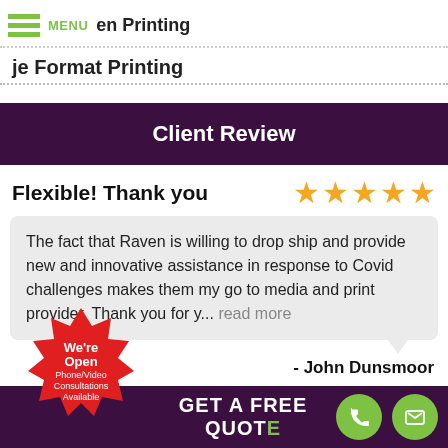en Printing
je Format Printing
Client Review
Flexible! Thank you
The fact that Raven is willing to drop ship and provide new and innovative assistance in response to Covid challenges makes them my go to media and print provider. Thank you for y... read more
- John Dunsmoor
[Figure (other): Red starburst badge with text: We're Open Phone/Video Consultations Available]
GET A FREE QUOTE